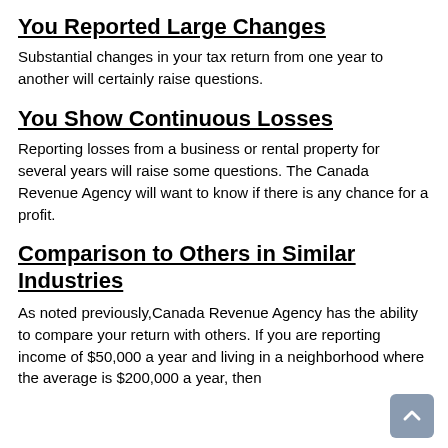You Reported Large Changes
Substantial changes in your tax return from one year to another will certainly raise questions.
You Show Continuous Losses
Reporting losses from a business or rental property for several years will raise some questions. The Canada Revenue Agency will want to know if there is any chance for a profit.
Comparison to Others in Similar Industries
As noted previously,Canada Revenue Agency has the ability to compare your return with others. If you are reporting income of $50,000 a year and living in a neighborhood where the average is $200,000 a year, then